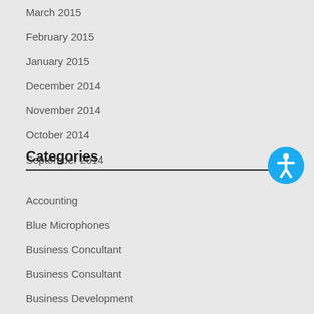March 2015
February 2015
January 2015
December 2014
November 2014
October 2014
September 2014
Categories
Accounting
Blue Microphones
Business Concultant
Business Consultant
Business Development
Cloud Computing
Cloud Services